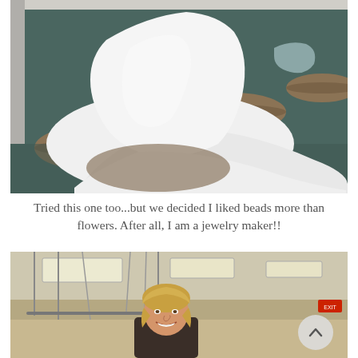[Figure (photo): A white wedding dress with a long train spread out on the floor of what appears to be a bridal shop, with round carpeted fitting platforms visible in the background.]
Tried this one too...but we decided I liked beads more than flowers. After all, I am a jewelry maker!!
[Figure (photo): A smiling young woman with blonde hair standing in what appears to be a fabric or craft store with fluorescent ceiling lights and hanging metal rods or garment racks visible. A circular scroll-up button is overlaid in the lower right corner.]